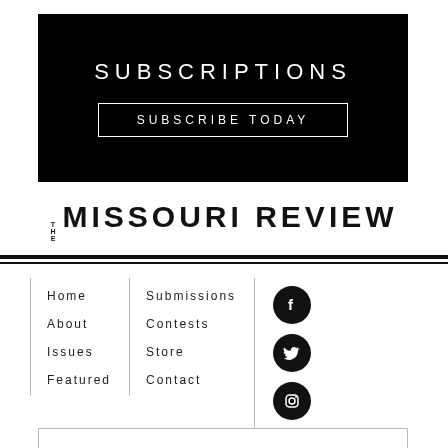[Figure (other): Black banner with SUBSCRIPTIONS heading and SUBSCRIBE TODAY button]
THE MISSOURI REVIEW
Home
About
Issues
Featured
Submissions
Contests
Store
Contact